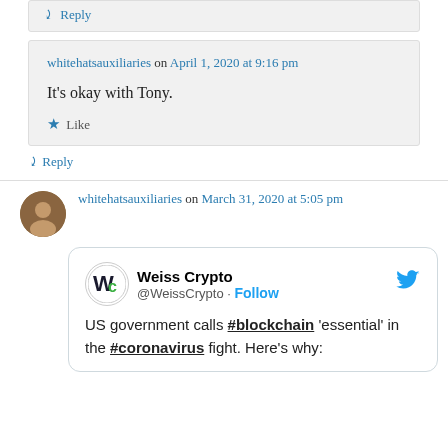↪ Reply
whitehatsauxiliaries on April 1, 2020 at 9:16 pm
It's okay with Tony.
★ Like
↪ Reply
whitehatsauxiliaries on March 31, 2020 at 5:05 pm
[Figure (screenshot): Embedded tweet from @WeissCrypto: 'US government calls #blockchain essential in the #coronavirus fight. Here's why:']